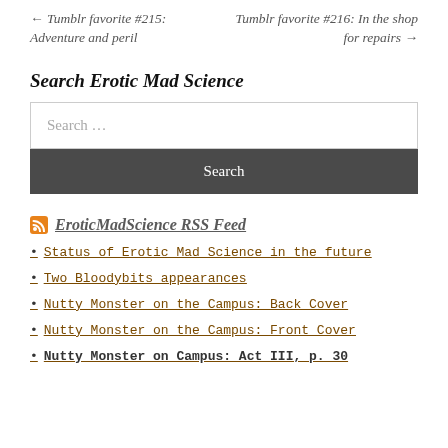← Tumblr favorite #215: Adventure and peril    Tumblr favorite #216: In the shop for repairs →
Search Erotic Mad Science
Search ...
Search
EroticMadScience RSS Feed
Status of Erotic Mad Science in the future
Two Bloodybits appearances
Nutty Monster on the Campus: Back Cover
Nutty Monster on the Campus: Front Cover
Nutty Monster on Campus: Act III, p. 30